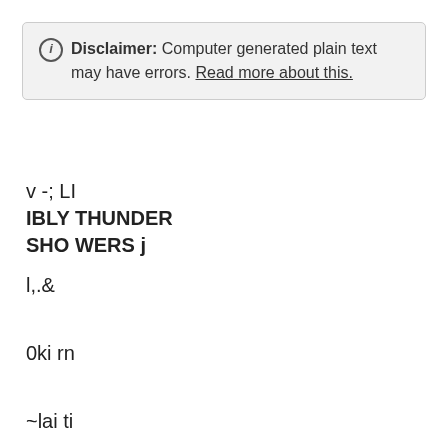ⓘ Disclaimer: Computer generated plain text may have errors. Read more about this.
v -; LI
IBLY THUNDER
SHO WERS j
l,.&
0ki rn
~lai ti